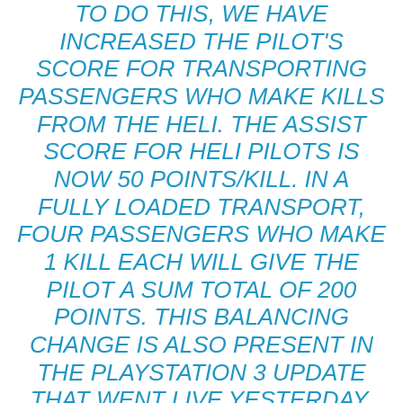TO DO THIS, WE HAVE INCREASED THE PILOT'S SCORE FOR TRANSPORTING PASSENGERS WHO MAKE KILLS FROM THE HELI. THE ASSIST SCORE FOR HELI PILOTS IS NOW 50 POINTS/KILL. IN A FULLY LOADED TRANSPORT, FOUR PASSENGERS WHO MAKE 1 KILL EACH WILL GIVE THE PILOT A SUM TOTAL OF 200 POINTS. THIS BALANCING CHANGE IS ALSO PRESENT IN THE PLAYSTATION 3 UPDATE THAT WENT LIVE YESTERDAY.
MAKING THE SOFLAM A PASSIVE INCOME GADGET
THE RECON GADGET SOFLAM (LASER